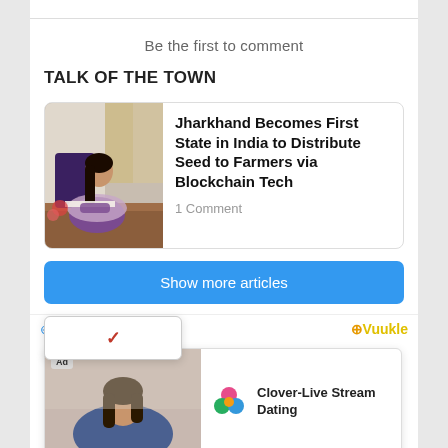Be the first to comment
TALK OF THE TOWN
[Figure (photo): Article card with photo of woman sitting at desk writing, and headline: Jharkhand Becomes First State in India to Distribute Seed to Farmers via Blockchain Tech. 1 Comment.]
Show more articles
[Figure (screenshot): Dropdown overlay with red checkmark chevron. Ad panel showing woman photo with Ad badge, Clover app logo, 'Clover-Live Stream Dating' text, and Download link.]